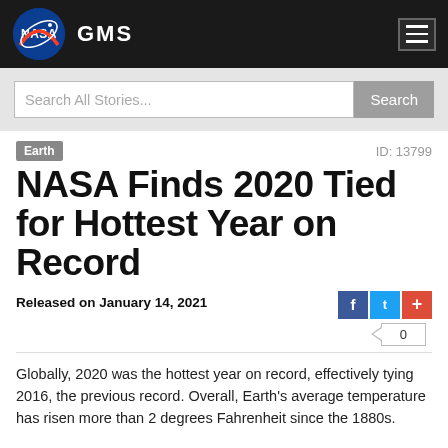GMS
Search All Stories...
Earth    ID: 13799
NASA Finds 2020 Tied for Hottest Year on Record
Released on January 14, 2021
Globally, 2020 was the hottest year on record, effectively tying 2016, the previous record. Overall, Earth's average temperature has risen more than 2 degrees Fahrenheit since the 1880s.